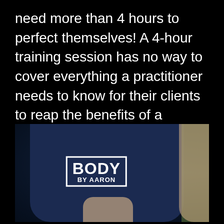need more than 4 hours to perfect themselves! A 4-hour training session has no way to cover everything a practitioner needs to know for their clients to reap the benefits of a practice like this.
[Figure (photo): A person wearing a dark navy blue t-shirt with a 'BODY BY AARON' logo/badge on the chest. The photo shows the torso and arms of the individual. A green background is visible on the right side.]